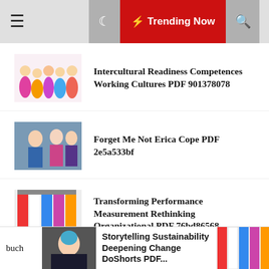☰  🌙  ⚡ Trending Now  🔍
Intercultural Readiness Competences Working Cultures PDF 901378078
Forget Me Not Erica Cope PDF 2e5a533bf
Transforming Performance Measurement Rethinking Organizational PDF 76bd86568
Create Impact Business Presentations Softcover PDF C954f0e0f
buch  Storytelling Sustainability Deepening Change DoShorts PDF...